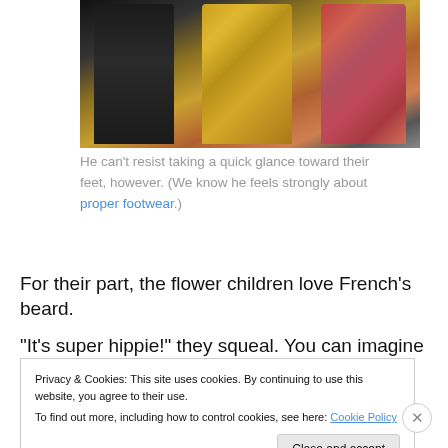[Figure (photo): Three people standing together, one in black clothing, one in a gold/yellow patterned jacket, one in a red/pink patterned jacket]
He can't resist taking a quick glance toward their feet, however. (We know he feels strongly about proper footwear.)
For their part, the flower children love French's beard.
“It’s super hippie!” they squeal. You can imagine how
Privacy & Cookies: This site uses cookies. By continuing to use this website, you agree to their use.
To find out more, including how to control cookies, see here: Cookie Policy